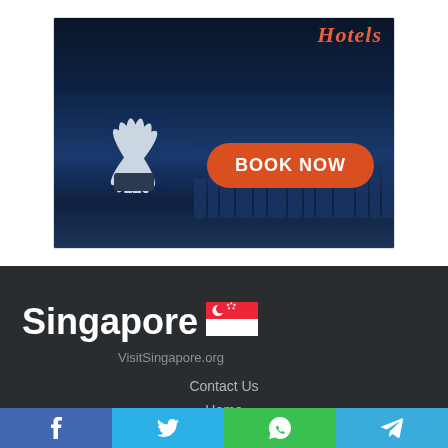[Figure (photo): Singapore hotels advertisement with ArtScience Museum and city skyline at night, with BOOK NOW button and 'hotels' text in orange]
[Figure (logo): Singapore flag and 'Singapore VisitSingapore.org' logo on dark footer background]
Contact Us
Home
About Us
[Figure (infographic): Social media share bar with Facebook, Twitter, WhatsApp, and Telegram buttons]